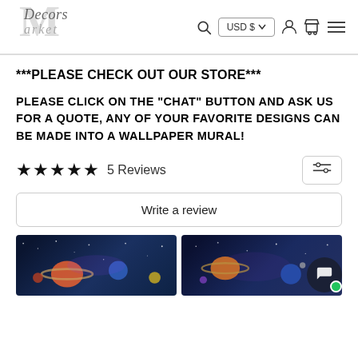Decors Market — USD $ — Search, Account, Cart, Menu
***PLEASE CHECK OUT OUR STORE***
PLEASE CLICK ON THE "CHAT" BUTTON AND ASK US FOR A QUOTE, ANY OF YOUR FAVORITE DESIGNS CAN BE MADE INTO A WALLPAPER MURAL!
★★★★★ 5 Reviews
Write a review
[Figure (photo): Two customer photos showing space/galaxy wallpaper murals installed on walls]
[Figure (other): Chat bubble button overlay in bottom right]